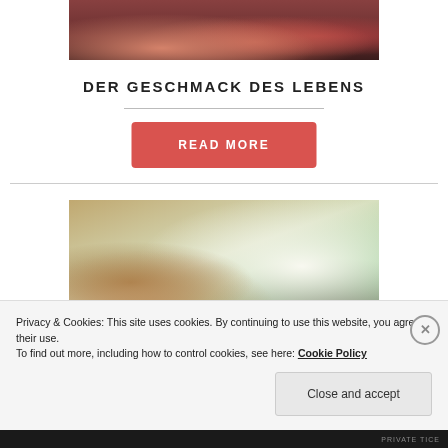[Figure (photo): Close-up photo of hands holding red berries/raspberries]
DER GESCHMACK DES LEBENS
READ MORE
[Figure (photo): Photo of a woman and child holding hands outdoors with trees in background]
Privacy & Cookies: This site uses cookies. By continuing to use this website, you agree to their use.
To find out more, including how to control cookies, see here: Cookie Policy
Close and accept
PRIVATE TICE